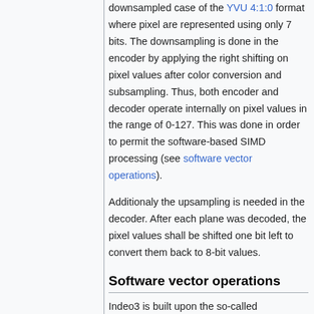downsampled case of the YVU 4:1:0 format where pixel are represented using only 7 bits. The downsampling is done in the encoder by applying the right shifting on pixel values after color conversion and subsampling. Thus, both encoder and decoder operate internally on pixel values in the range of 0-127. This was done in order to permit the software-based SIMD processing (see software vector operations).
Additionaly the upsampling is needed in the decoder. After each plane was decoded, the pixel values shall be shifted one bit left to convert them back to 8-bit values.
Software vector operations
Indeo3 is built upon the so-called "softSIMD" technique, which allows an